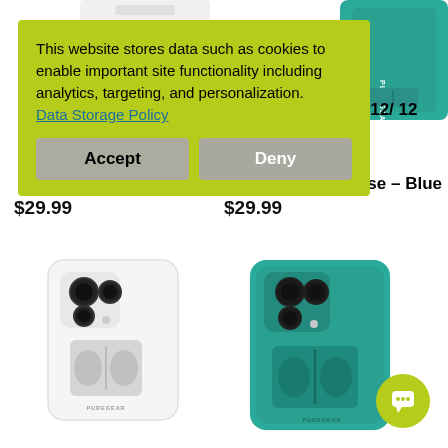[Figure (screenshot): Partial product images at top of page showing white phone case and teal phone case with stand]
ne 12/ 12
K,
ial
Case – Blue
$29.99
$29.99
[Figure (infographic): Cookie consent overlay with lime green background. Text: 'This website stores data such as cookies to enable important site functionality including analytics, targeting, and personalization. Data Storage Policy' with Accept and Deny buttons]
[Figure (photo): White iPhone 11 Pro with PureGear stand/grip case shown from back]
[Figure (photo): Teal/green iPhone 11 Pro with PureGear stand/grip case shown from back]
[Figure (other): Lime green circular chat support icon in bottom right corner]